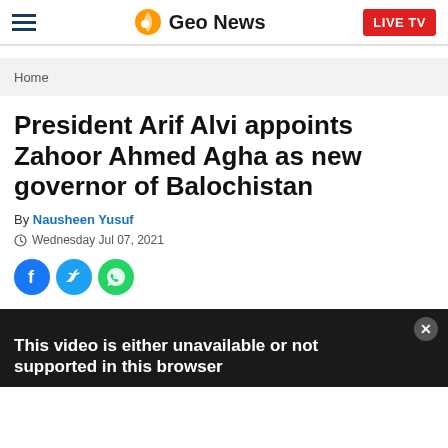Geo News | LIVE TV
Home
President Arif Alvi appoints Zahoor Ahmed Agha as new governor of Balochistan
By Nausheen Yusuf
Wednesday Jul 07, 2021
[Figure (other): Social media share icons: Facebook (blue circle), Twitter (blue circle), WhatsApp (green circle)]
This video is either unavailable or not supported in this browser